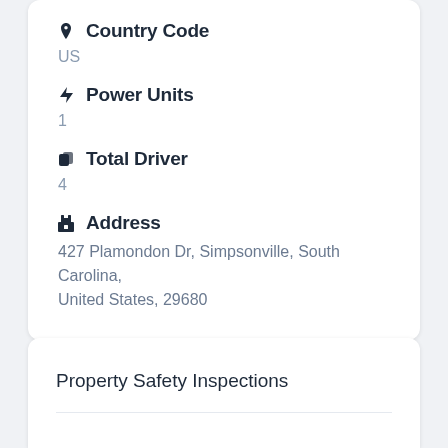Country Code
US
Power Units
1
Total Driver
4
Address
427 Plamondon Dr, Simpsonville, South Carolina, United States, 29680
Property Safety Inspections